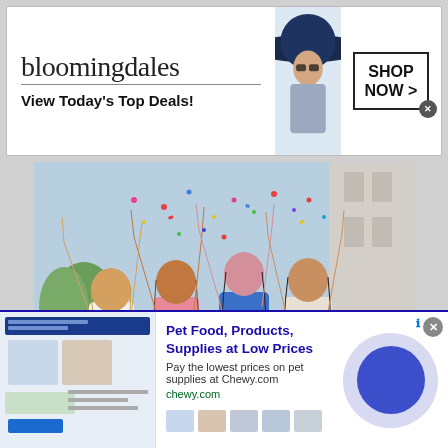[Figure (screenshot): Bloomingdales top banner advertisement: logo, 'View Today's Top Deals!', model with wide-brim hat, and 'SHOP NOW >' button]
[Figure (photo): Group of young women with arms raised at an outdoor celebration with confetti]
[Figure (screenshot): Chewy.com bottom banner ad: 'Pet Food, Products, Supplies at Low Prices', pay lowest prices on pet supplies at Chewy.com, with Cortana circle icon and product thumbnails]